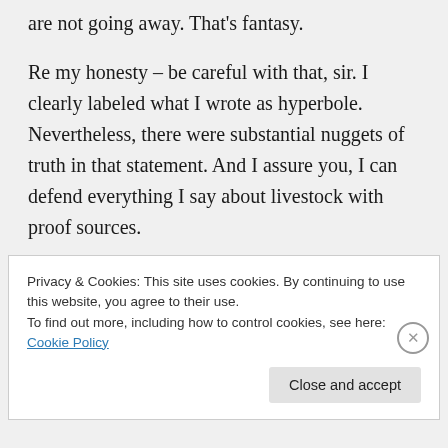are not going away. That's fantasy.
Re my honesty – be careful with that, sir. I clearly labeled what I wrote as hyperbole. Nevertheless, there were substantial nuggets of truth in that statement. And I assure you, I can defend everything I say about livestock with proof sources.
Log in to Reply
Privacy & Cookies: This site uses cookies. By continuing to use this website, you agree to their use.
To find out more, including how to control cookies, see here: Cookie Policy
Close and accept